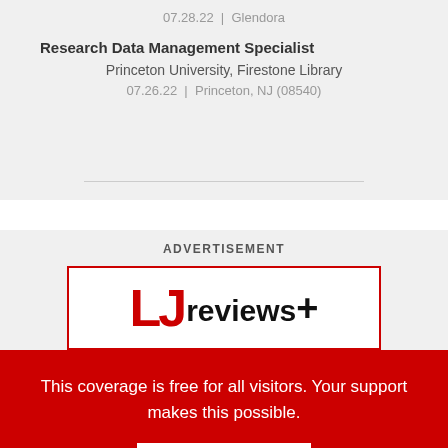07.28.22 | Glendora
Research Data Management Specialist
Princeton University, Firestone Library
07.26.22 | Princeton, NJ (08540)
ADVERTISEMENT
[Figure (logo): LJ reviews+ logo with red LJ letters and black reviews+ text]
This coverage is free for all visitors. Your support makes this possible.
SUBSCRIBE